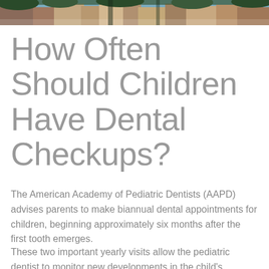[Figure (photo): Street scene photo banner at top of page showing buildings and foliage]
How Often Should Children Have Dental Checkups?
The American Academy of Pediatric Dentists (AAPD) advises parents to make biannual dental appointments for children, beginning approximately six months after the first tooth emerges.
These two important yearly visits allow the pediatric dentist to monitor new developments in the child's